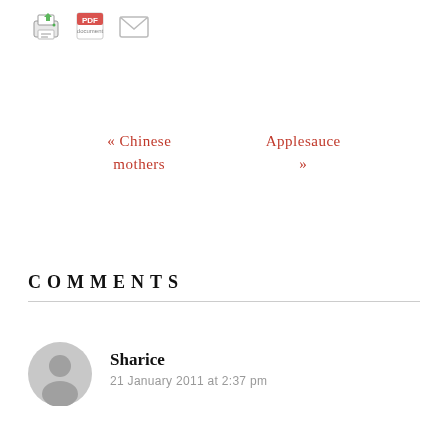[Figure (other): Three toolbar icons: print, PDF, and email/envelope]
« Chinese mothers
Applesauce »
COMMENTS
Sharice
21 January 2011 at 2:37 pm